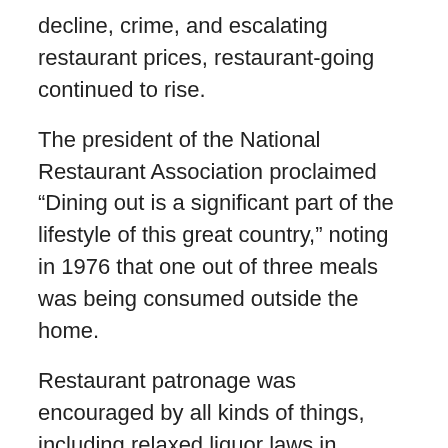decline, crime, and escalating restaurant prices, restaurant-going continued to rise.
The president of the National Restaurant Association proclaimed “Dining out is a significant part of the lifestyle of this great country,” noting in 1976 that one out of three meals was being consumed outside the home.
Restaurant patronage was encouraged by all kinds of things, including relaxed liquor laws in formerly dry states and counties, which brought more restaurants into the suburbs, the spread of credit cards, more working wives and mothers, youth culture, and a me-generation quest for diversion.
New York exemplified the problems faced by restaurants in troubled inner cities. Fear of crime kept people from going out to dinner. Restaurants had for...